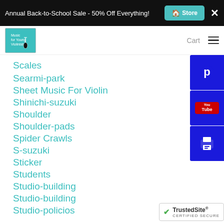Annual Back-to-School Sale - 50% Off Everything! Store ×
[Figure (logo): Music for Young Violinists logo with violin icon on teal background]
Scales
Searmi-park
Sheet Music For Violin
Shinichi-suzuki
Shoulder
Shoulder-pads
Spider Crawls
S-suzuki
Sticker
Students
Studio-building
Studio-building
Studio-policios
[Figure (logo): TrustedSite Certified Secure badge]